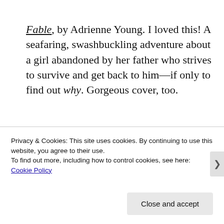Fable, by Adrienne Young. I loved this! A seafaring, swashbuckling adventure about a girl abandoned by her father who strives to survive and get back to him—if only to find out why. Gorgeous cover, too.
[Figure (illustration): Book cover image showing 'Barbara Venkataraman' text on a dark green banner at the top, with an abstract dark blue/grey and white background below.]
Privacy & Cookies: This site uses cookies. By continuing to use this website, you agree to their use.
To find out more, including how to control cookies, see here: Cookie Policy